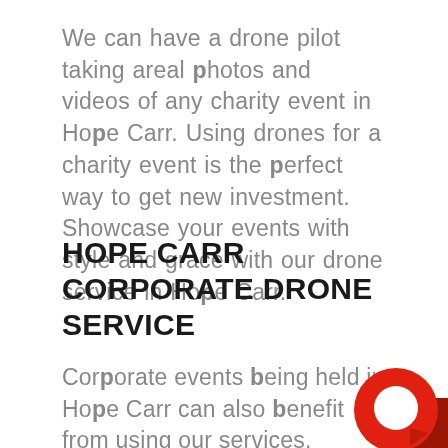We can have a drone pilot taking areal photos and videos of any charity event in Hope Carr. Using drones for a charity event is the perfect way to get new investment. Showcase your events with style and grace with our drone service in Hope Carr.
HOPE CARR CORPORATE DRONE SERVICE
Corporate events being held in Hope Carr can also benefit from using our services. Having a Corporate event